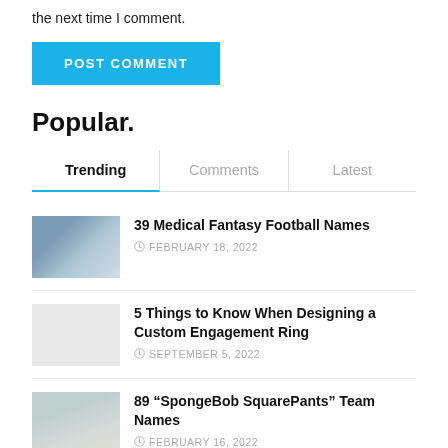the next time I comment.
POST COMMENT
Popular.
Trending | Comments | Latest
39 Medical Fantasy Football Names — FEBRUARY 18, 2022
5 Things to Know When Designing a Custom Engagement Ring — SEPTEMBER 5, 2022
89 “SpongeBob SquarePants” Team Names — FEBRUARY 16, 2022